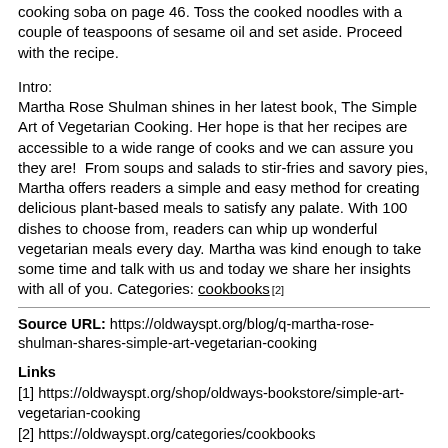cooking soba on page 46. Toss the cooked noodles with a couple of teaspoons of sesame oil and set aside. Proceed with the recipe.
Intro:
Martha Rose Shulman shines in her latest book, The Simple Art of Vegetarian Cooking. Her hope is that her recipes are accessible to a wide range of cooks and we can assure you they are!  From soups and salads to stir-fries and savory pies, Martha offers readers a simple and easy method for creating delicious plant-based meals to satisfy any palate. With 100 dishes to choose from, readers can whip up wonderful vegetarian meals every day. Martha was kind enough to take some time and talk with us and today we share her insights with all of you.
Categories:
cookbooks [2]
Source URL: https://oldwayspt.org/blog/q-martha-rose-shulman-shares-simple-art-vegetarian-cooking
Links
[1] https://oldwayspt.org/shop/oldways-bookstore/simple-art-vegetarian-cooking
[2] https://oldwayspt.org/categories/cookbooks